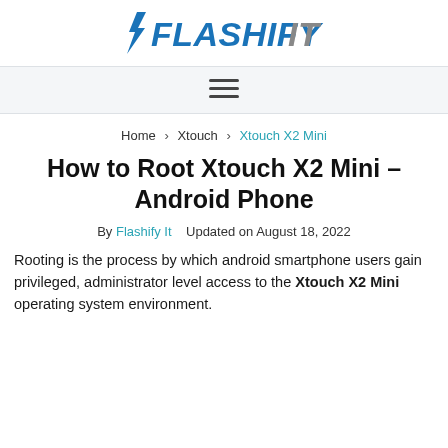FLASHIFYIT
[Figure (logo): Flashify It logo with lightning bolt icon, text in bold italic, blue and gray colors]
[Figure (infographic): Hamburger menu icon (three horizontal lines) on light gray navigation bar]
Home > Xtouch > Xtouch X2 Mini
How to Root Xtouch X2 Mini – Android Phone
By Flashify It   Updated on August 18, 2022
Rooting is the process by which android smartphone users gain privileged, administrator level access to the Xtouch X2 Mini operating system environment.